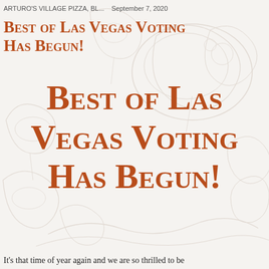ARTURO'S VILLAGE PIZZA, BL...   September 7, 2020
Best of Las Vegas Voting Has Begun!
Best of Las Vegas Voting Has Begun!
It's that time of year again and we are so thrilled to be